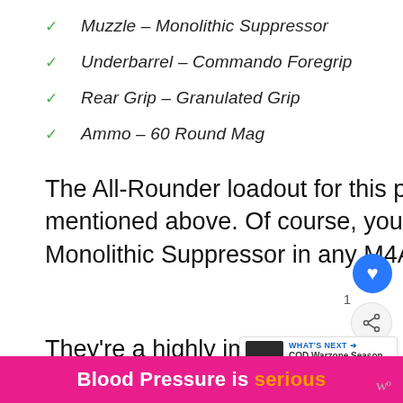Muzzle – Monolithic Suppressor
Underbarrel – Commando Foregrip
Rear Grip – Granulated Grip
Ammo – 60 Round Mag
The All-Rounder loadout for this particular weapon is by far the one mentioned above. Of course, you need the M16 Grenadier and the Monolithic Suppressor in any M4A1 loadout that you choose to create.
They're a highly important unit of the gu... because they not just maintain your damage ra...
Blood Pressure is serious